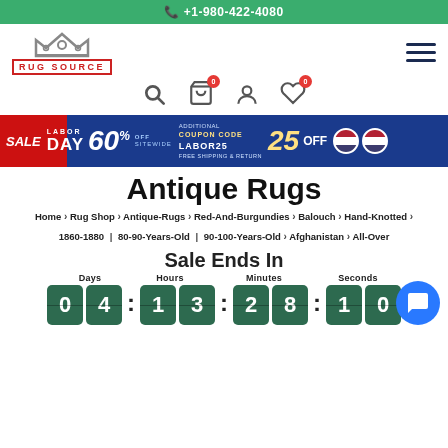+1-980-422-4080
[Figure (logo): Rug Source logo with crown icon and red text]
[Figure (infographic): Labor Day sale banner: 60% off sitewide, additional 25% off with coupon code LABOR25, free shipping and return]
Antique Rugs
Home > Rug Shop > Antique-Rugs > Red-And-Burgundies > Balouch > Hand-Knotted > 1860-1880 | 80-90-Years-Old | 90-100-Years-Old > Afghanistan > All-Over
Sale Ends In
Days  Hours  Minutes  Seconds   0 4 : 1 3 : 2 8 : 1 0